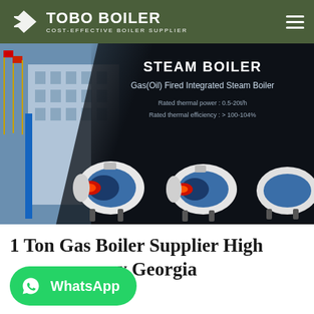TOBO BOILER — COST-EFFECTIVE BOILER SUPPLIER
[Figure (screenshot): Steam Boiler product banner showing Gas(Oil) Fired Integrated Steam Boilers against dark background with industrial building photo on left. Text: STEAM BOILER, Gas(Oil) Fired Integrated Steam Boiler, Rated thermal power: 0.5-20t/h, Rated thermal efficiency: > 100-104%]
1 Ton Gas Boiler Supplier High Efficiency Georgia